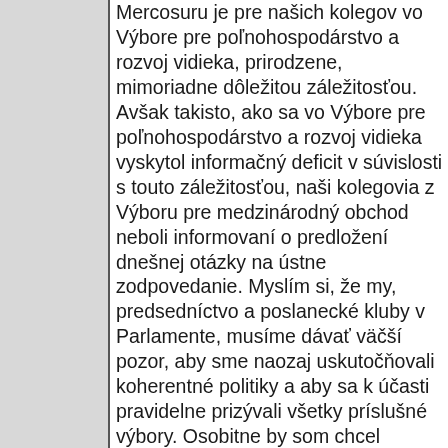Mercosuru je pre našich kolegov vo Výbore pre poľnohospodárstvo a rozvoj vidieka, prirodzene, mimoriadne dôležitou záležitosťou. Avšak takisto, ako sa vo Výbore pre poľnohospodárstvo a rozvoj vidieka vyskytol informačný deficit v súvislosti s touto záležitosťou, naši kolegovia z Výboru pre medzinárodný obchod neboli informovaní o predložení dnešnej otázky na ústne zodpovedanie. Myslím si, že my, predsedníctvo a poslanecké kluby v Parlamente, musíme dávať väčší pozor, aby sme naozaj uskutočňovali koherentné politiky a aby sa k účasti pravidelne prizývali všetky príslušné výbory. Osobitne by som chcel zdôrazniť jednu vec. V skutočnosti som vďačný, že Komisia opätovne otvorila rokovania. Parlament 5. mája tohto roku v správe pána